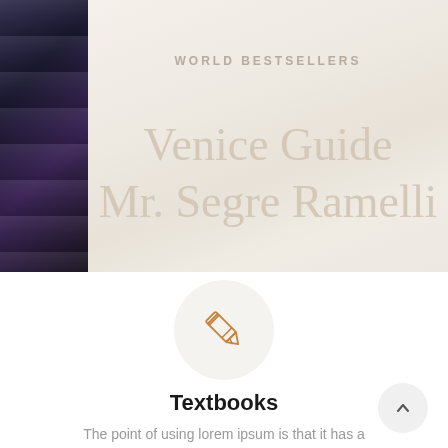[Figure (photo): Book cover image with dark spine on the left and light beige background on the right showing 'WORLD BESTSELLERS' label and title 'Venice Guide Mr. Segre Ramelli' in large muted serif text]
WORLD BESTSELLERS
Venice Guide
Mr. Segre Ramelli
[Figure (illustration): Pencil icon inside a light gray circle]
Textbooks
The point of using lorem ipsum is that it has a